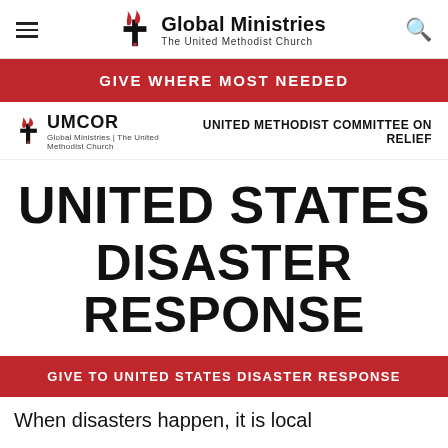Global Ministries — The United Methodist Church
GIVE WHERE MOST NEEDED
[Figure (logo): UMCOR — Global Ministries | The United Methodist Church logo with cross and flame]
UNITED METHODIST COMMITTEE ON RELIEF
UNITED STATES DISASTER RESPONSE
GIVE TO UNITED STATES DISASTER RESPONSE
When disasters happen, it is local